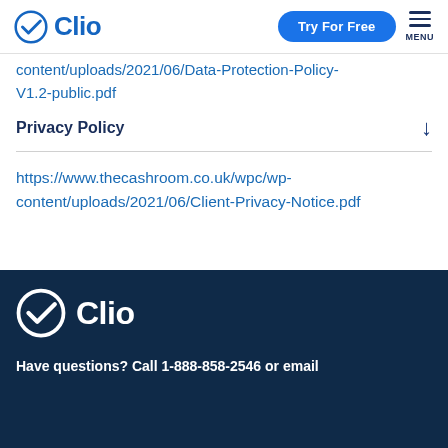Clio | Try For Free | MENU
content/uploads/2021/06/Data-Protection-Policy-V1.2-public.pdf
Privacy Policy
https://www.thecashroom.co.uk/wpc/wp-content/uploads/2021/06/Client-Privacy-Notice.pdf
Clio logo | Have questions? Call 1-888-858-2546 or email